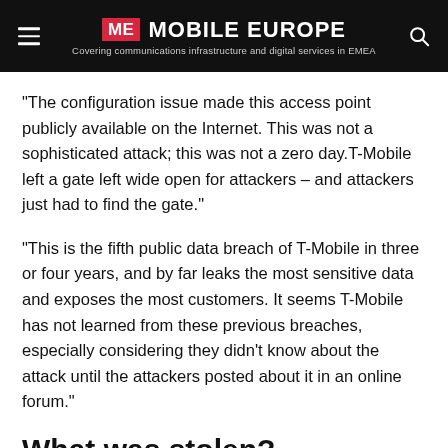ME MOBILE EUROPE — Covering communications infrastructure and digital services in EMEA
“The configuration issue made this access point publicly available on the Internet. This was not a sophisticated attack; this was not a zero day.T-Mobile left a gate left wide open for attackers – and attackers just had to find the gate.”
“This is the fifth public data breach of T-Mobile in three or four years, and by far leaks the most sensitive data and exposes the most customers. It seems T-Mobile has not learned from these previous breaches, especially considering they didn’t know about the attack until the attackers posted about it in an online forum.”
What was stolen?